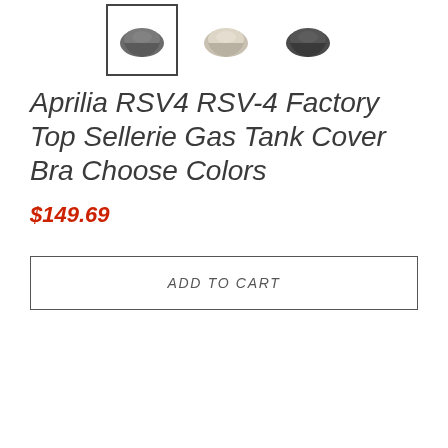[Figure (photo): Three product thumbnail images of motorcycle gas tank covers/bras. The first (leftmost) is selected with a border, showing a dark grey/smoke colored tank cover. The second shows a white/cream colored tank cover. The third shows a dark/gunmetal colored tank cover.]
Aprilia RSV4 RSV-4 Factory Top Sellerie Gas Tank Cover Bra Choose Colors
$149.69
ADD TO CART